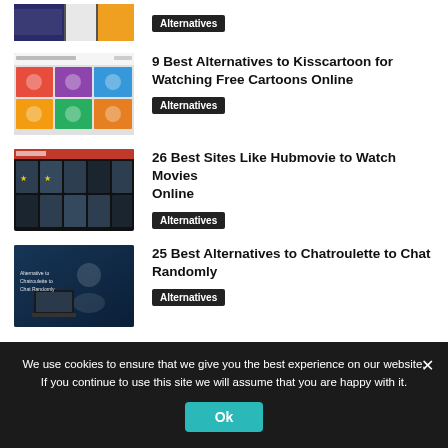[Figure (screenshot): Partially visible thumbnail of a website screenshot with colorful images]
Alternatives
[Figure (screenshot): Screenshot of Kisscartoon website showing cartoon thumbnails grid]
9 Best Alternatives to Kisscartoon for Watching Free Cartoons Online
Alternatives
[Figure (screenshot): Screenshot of Hubmovie website showing movie posters on dark background]
26 Best Sites Like Hubmovie to Watch Movies Online
Alternatives
[Figure (screenshot): Screenshot showing 'Alternative to Chatroulette to Chat Randomly' with person using laptop]
25 Best Alternatives to Chatroulette to Chat Randomly
Alternatives
We use cookies to ensure that we give you the best experience on our website. If you continue to use this site we will assume that you are happy with it.
Ok